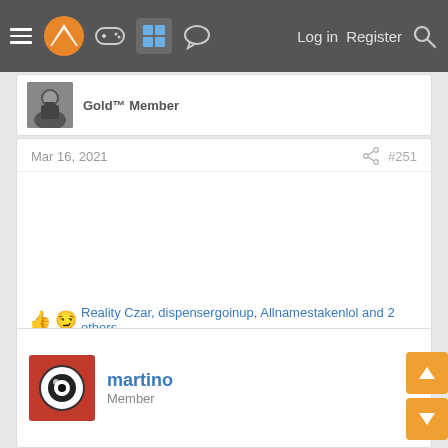Navigation bar with logo, icons, Log in, Register, Search
Gold™ Member
Mar 16, 2021  #251
Reality Czar, dispensergoinup, Allnamestakenlol and 2 others
martino
Member